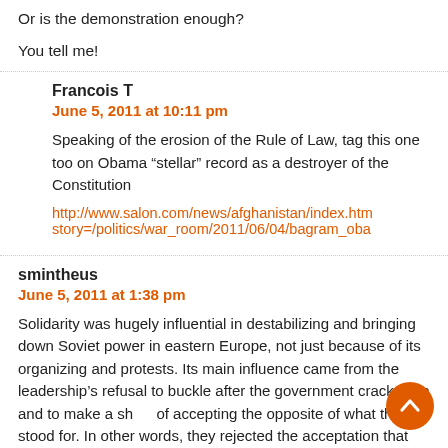Or is the demonstration enough?
You tell me!
Francois T
June 5, 2011 at 10:11 pm
Speaking of the erosion of the Rule of Law, tag this one too on Obama “stellar” record as a destroyer of the Constitution
http://www.salon.com/news/afghanistan/index.htm story=/politics/war_room/2011/06/04/bagram_oba
smintheus
June 5, 2011 at 1:38 pm
Solidarity was hugely influential in destabilizing and bringing down Soviet power in eastern Europe, not just because of its organizing and protests. Its main influence came from the leadership’s refusal to buckle after the government crackdown and to make a show of accepting the opposite of what they stood for. In other words, they rejected the acceptation that Soviet